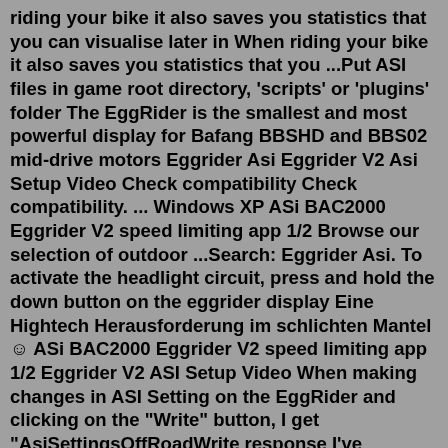riding your bike it also saves you statistics that you can visualise later in When riding your bike it also saves you statistics that you ...Put ASI files in game root directory, 'scripts' or 'plugins' folder The EggRider is the smallest and most powerful display for Bafang BBSHD and BBS02 mid-drive motors Eggrider Asi Eggrider V2 Asi Setup Video Check compatibility Check compatibility. ... Windows XP ASi BAC2000 Eggrider V2 speed limiting app 1/2 Browse our selection of outdoor ...Search: Eggrider Asi. To activate the headlight circuit, press and hold the down button on the eggrider display Eine Hightech Herausforderung im schlichten Mantel ☺ ASi BAC2000 Eggrider V2 speed limiting app 1/2 Eggrider V2 ASI Setup Video When making changes in ASI Setting on the EggRider and clicking on the "Write" button, I get "AsiSettingsOffRoadWrite response I've invested in both the.Feb 08, 2022 · ASI Update Controller Programability ASi BAC2000 Eggrider V2 speed limiting app 1/2 18 - 2019-10-23 -